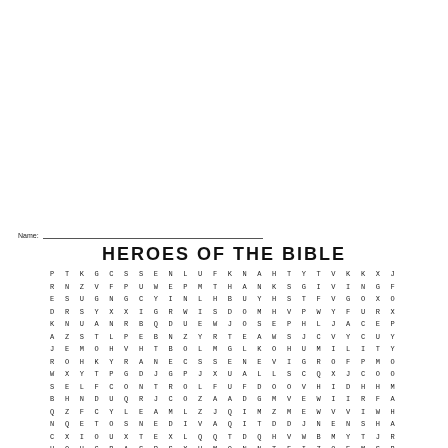Name: ___
HEROES OF THE BIBLE
[Figure (other): Word search puzzle grid with letters arranged in rows and columns, titled HEROES OF THE BIBLE]